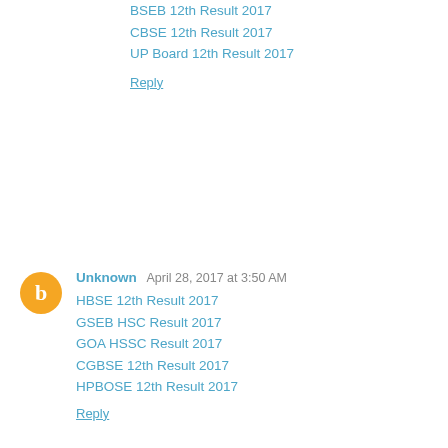BSEB 12th Result 2017
CBSE 12th Result 2017
UP Board 12th Result 2017
Reply
Unknown  April 28, 2017 at 3:50 AM
HBSE 12th Result 2017
GSEB HSC Result 2017
GOA HSSC Result 2017
CGBSE 12th Result 2017
HPBOSE 12th Result 2017
Reply
Unknown  April 28, 2017 at 3:51 AM
ISC 12th Result 2017
JAC 12th Result 2017
JKBOSE 12th Result 2017
Karnataka PUC Result 2017
Kerala HSE Result 2017